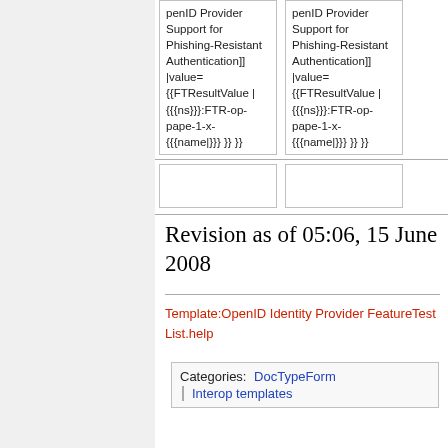| penID Provider Support for Phishing-Resistant Authentication]] |value= {{FTResultValue | {{{ns}}}:FTR-op-pape-1-x-{{{name|}}} }} }} | penID Provider Support for Phishing-Resistant Authentication]] |value= {{FTResultValue | {{{ns}}}:FTR-op-pape-1-x-{{{name|}}} }} }} |
|  |  |
Revision as of 05:06, 15 June 2008
Template:OpenID Identity Provider FeatureTest List.help
| Categories: | DocTypeForm |
|  | Interop templates |